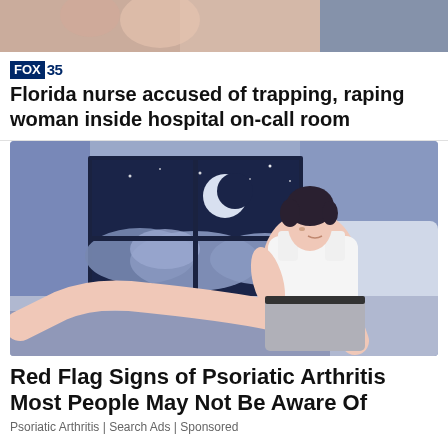[Figure (photo): Top strip showing partial image of people, cropped]
[Figure (illustration): Fox 35 logo with blue box and number]
Florida nurse accused of trapping, raping woman inside hospital on-call room
[Figure (illustration): Illustration of a man sitting on a bed at night with a window showing moon and clouds]
Red Flag Signs of Psoriatic Arthritis Most People May Not Be Aware Of
Psoriatic Arthritis | Search Ads | Sponsored